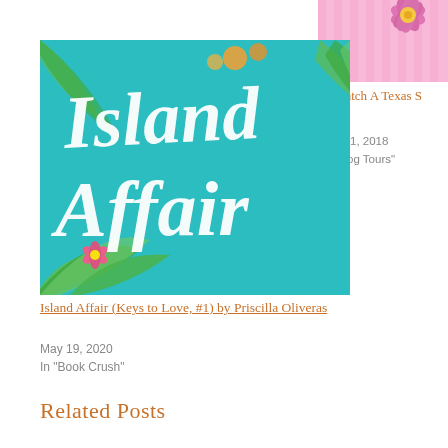[Figure (photo): Book cover thumbnail showing a pink flower on a striped pink background — partial view, cropped]
To Catch A Texas S
July 11, 2018
In "Blog Tours"
[Figure (photo): Book cover for Island Affair (Keys to Love, #1) by Priscilla Oliveras — teal/turquoise background with white brush-script title text and tropical palm leaf decorations]
Island Affair (Keys to Love, #1) by Priscilla Oliveras
May 19, 2020
In "Book Crush"
Related Posts